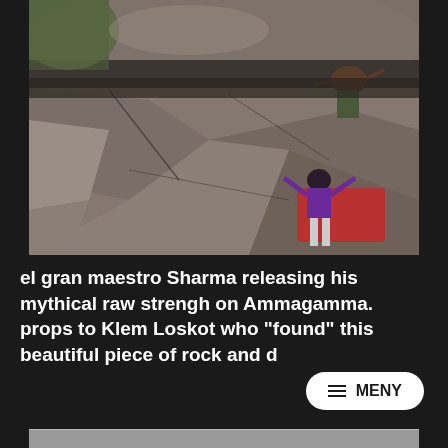[Figure (photo): Two climbers on a large boulder/rock face. One climber in a purple jacket stands below with arms raised near a red crash pad. Another climber in dark clothing is climbing an overhang above. Rocky terrain with vegetation visible in background.]
el gran maestro Sharma releasing his mythical raw strengh on Ammagamma. props to Klem Loskot who "found" this beautiful piece of rock and d
[Figure (other): MENY button overlay - hamburger menu button with rounded white background]
[Figure (photo): Partial photo visible at bottom of page]